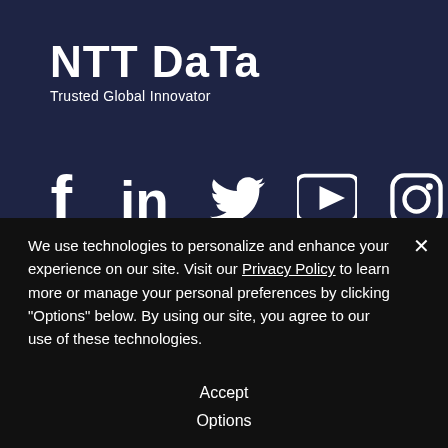[Figure (logo): NTT DATA logo with tagline 'Trusted Global Innovator' on dark navy background]
[Figure (infographic): Social media icons: Facebook, LinkedIn, Twitter, YouTube, Instagram]
Services
Resources
Application Development &
Blogs
We use technologies to personalize and enhance your experience on our site. Visit our Privacy Policy to learn more or manage your personal preferences by clicking "Options" below. By using our site, you agree to our use of these technologies.
Accept
Options